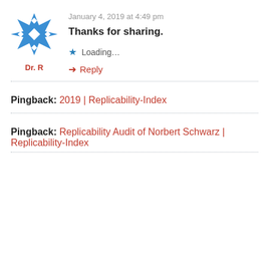[Figure (illustration): Blue geometric snowflake/star avatar icon for user Dr. R]
Dr. R
January 4, 2019 at 4:49 pm
Thanks for sharing.
Loading...
Reply
Pingback: 2019 | Replicability-Index
Pingback: Replicability Audit of Norbert Schwarz | Replicability-Index